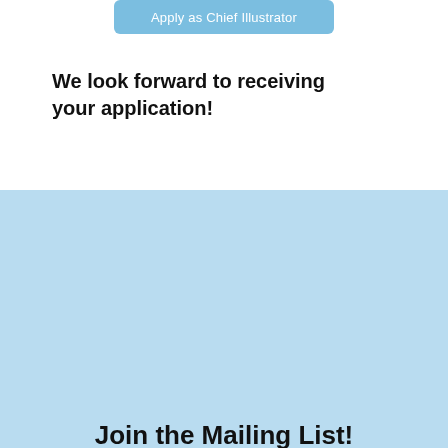[Figure (screenshot): Blue button with white text reading 'Apply as Chief Illustrator']
We look forward to receiving your application!
Join the Mailing List!
Keep updated with the SCC newsletter.
Enter your email address below.
Email Address
SUBSCRIBE